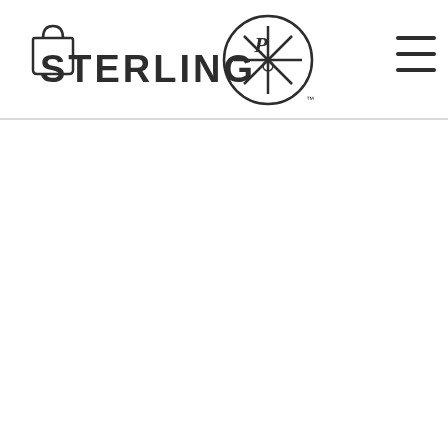[Figure (logo): Sterling Publishing logo: the word STERLING in bold black lettering next to a circular emblem containing a decorative monogram/cross symbol, with a shopping bag icon on the left and a hamburger menu icon on the right, forming a website navigation header]